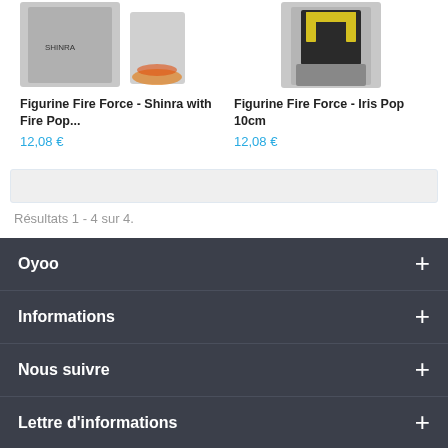[Figure (photo): Product image of Figurine Fire Force - Shinra with Fire Pop figurine]
Figurine Fire Force - Shinra with Fire Pop...
12,08 €
[Figure (photo): Product image of Figurine Fire Force - Iris Pop 10cm figurine]
Figurine Fire Force - Iris Pop 10cm
12,08 €
Résultats 1 - 4 sur 4.
Oyoo
Informations
Nous suivre
Lettre d'informations